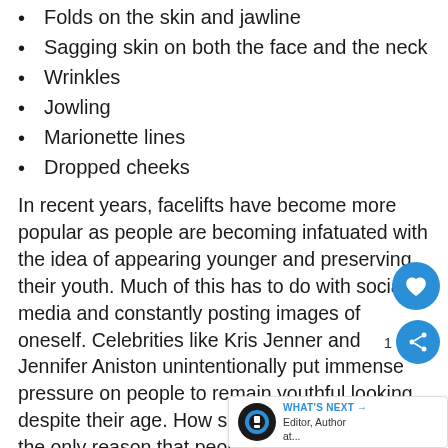Folds on the skin and jawline
Sagging skin on both the face and the neck
Wrinkles
Jowling
Marionette lines
Dropped cheeks
In recent years, facelifts have become more popular as people are becoming infatuated with the idea of appearing younger and preserving their youth. Much of this has to do with social media and constantly posting images of oneself. Celebrities like Kris Jenner and Jennifer Aniston unintentionally put immense pressure on people to remain youthful looking despite their age. How societal pressure is not the only reason that people are getting facelifts. Ma...